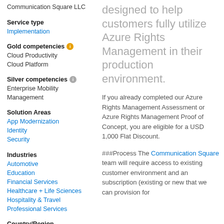Communication Square LLC
Service type
Implementation
Gold competencies
Cloud Productivity
Cloud Platform
Silver competencies
Enterprise Mobility Management
Solution Areas
App Modernization
Identity
Security
Industries
Automotive
Education
Financial Services
Healthcare + Life Sciences
Hospitality & Travel
Professional Services
Country/Region
Moldova
designed to help customers fully utilize Azure Rights Management in their production environment.
If you already completed our Azure Rights Management Assessment or Azure Rights Management Proof of Concept, you are eligible for a USD 1,000 Flat Discount.
###Process The Communication Square team will require access to existing customer environment and an subscription (existing or new that we can provision for